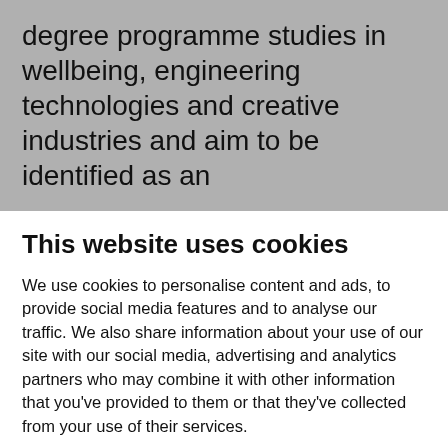degree programme studies in wellbeing, engineering technologies and creative industries and aim to be identified as an
This website uses cookies
We use cookies to personalise content and ads, to provide social media features and to analyse our traffic. We also share information about your use of our site with our social media, advertising and analytics partners who may combine it with other information that you've provided to them or that they've collected from your use of their services.
Allow all
Only necessary cookies
Show details